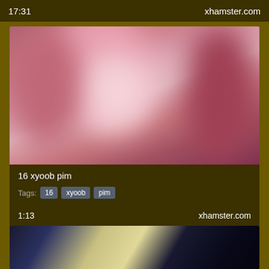17:31    xhamster.com
[Figure (photo): Blurred pink/mauve close-up video thumbnail]
16 xyoob pim
Tags: 16  xyoob  pim
1:13    xhamster.com
[Figure (photo): Dark close-up video thumbnail showing blue strap against light surface]